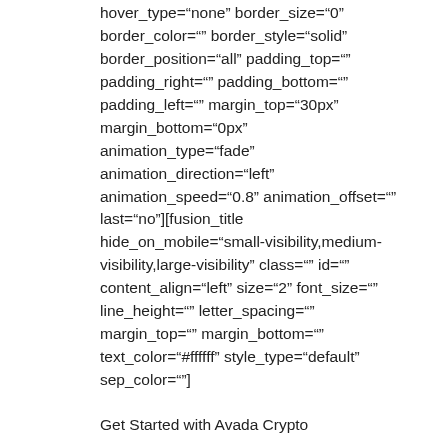hover_type="none" border_size="0" border_color="" border_style="solid" border_position="all" padding_top="" padding_right="" padding_bottom="" padding_left="" margin_top="30px" margin_bottom="0px" animation_type="fade" animation_direction="left" animation_speed="0.8" animation_offset="" last="no"][fusion_title hide_on_mobile="small-visibility,medium-visibility,large-visibility" class="" id="" content_align="left" size="2" font_size="" line_height="" letter_spacing="" margin_top="" margin_bottom="" text_color="#ffffff" style_type="default" sep_color=""]
Get Started with Avada Crypto
[/fusion_title][fusion_separator style_type="default" hide_on_mobile="small-visibility,medium-visibility,large-visibility" class="" id="" sep_color="" top_margin="10px" bottom_margin="" border_size="" icon="" icon_circle="" icon_circle_color="" width="" alignment="center" /]